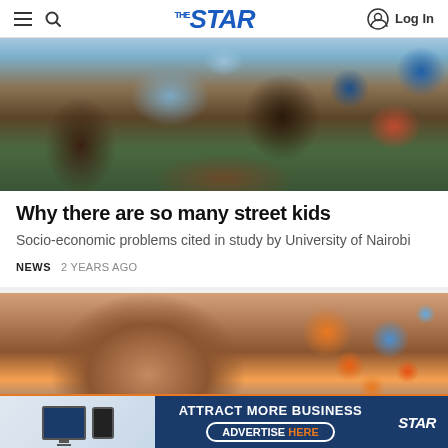THE STAR — Log In
[Figure (photo): Photo of children on a street, hands reaching for blue cups/containers, a young child visible on the right side]
Why there are so many street kids
Socio-economic problems cited in study by University of Nairobi
NEWS   2 YEARS AGO
[Figure (photo): Close-up photo of a man's face with glasses, text overlay reading 's Fa', orange and blue balloons visible in background]
[Figure (infographic): Advertisement banner: ATTRACT MORE BUSINESS — ADVERTISE HERE — THE STAR logo, with images of monitor and phone]